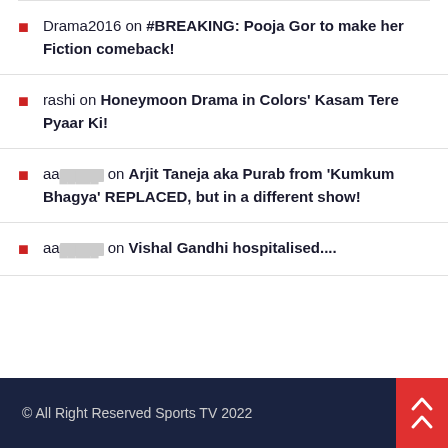Drama2016 on #BREAKING: Pooja Gor to make her Fiction comeback!
rashi on Honeymoon Drama in Colors' Kasam Tere Pyaar Ki!
aa█████ on Arjit Taneja aka Purab from 'Kumkum Bhagya' REPLACED, but in a different show!
aa█████ on Vishal Gandhi hospitalised....
© All Right Reserved Sports TV 2022